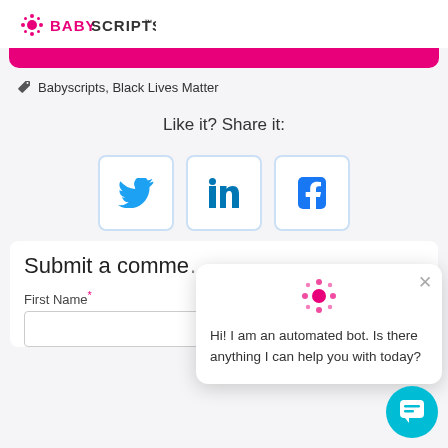BABYSCRIPTS
[Figure (other): Pink decorative bar]
Babyscripts, Black Lives Matter
Like it? Share it:
[Figure (other): Twitter, LinkedIn, and Facebook share buttons]
Submit a comme
First Name*
[Figure (other): Chatbot popup with message: Hi! I am an automated bot. Is there anything I can help you with today?]